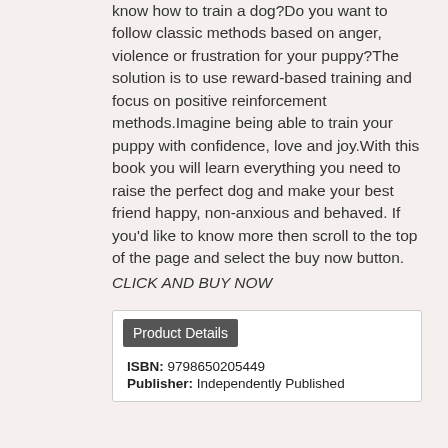know how to train a dog?Do you want to follow classic methods based on anger, violence or frustration for your puppy?The solution is to use reward-based training and focus on positive reinforcement methods.Imagine being able to train your puppy with confidence, love and joy.With this book you will learn everything you need to raise the perfect dog and make your best friend happy, non-anxious and behaved. If you'd like to know more then scroll to the top of the page and select the buy now button. CLICK AND BUY NOW
| ISBN: | 9798650205449 |
| Publisher: | Independently Published |